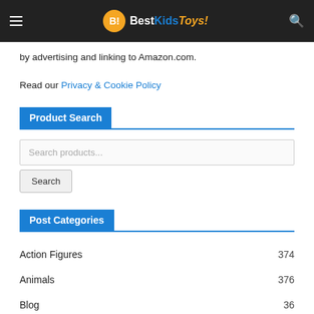BestKidsToys!
by advertising and linking to Amazon.com.
Read our Privacy & Cookie Policy
Product Search
Search products...
Search
Post Categories
Action Figures 374
Animals 376
Blog 36